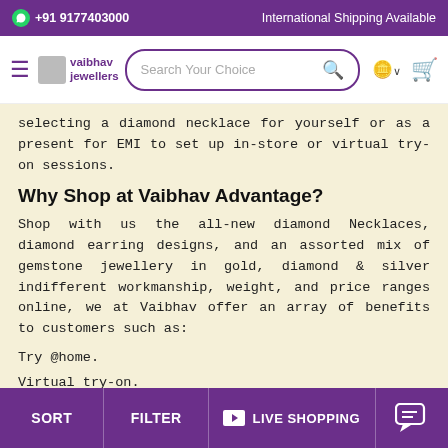+91 9177403000 | International Shipping Available
[Figure (screenshot): Navigation bar with Vaibhav Jewellers logo, search bar, coin icon, and cart icon]
selecting a diamond necklace for yourself or as a present for EMI to set up in-store or virtual try-on sessions.
Why Shop at Vaibhav Advantage?
Shop with us the all-new diamond Necklaces, diamond earring designs, and an assorted mix of gemstone jewellery in gold, diamond & silver indifferent workmanship, weight, and price ranges online, we at Vaibhav offer an array of benefits to customers such as:
Try @home.
Virtual try-on.
Free transit insurance on International Shipments.
SORT | FILTER | LIVE SHOPPING | [chat]